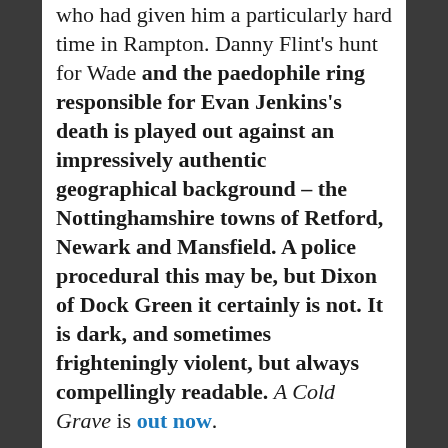who had given him a particularly hard time in Rampton. Danny Flint's hunt for Wade and the paedophile ring responsible for Evan Jenkins's death is played out against an impressively authentic geographical background – the Nottinghamshire towns of Retford, Newark and Mansfield. A police procedural this may be, but Dixon of Dock Green it certainly is not. It is dark, and sometimes frighteningly violent, but always compellingly readable. A Cold Grave is out now.
SHARE THIS:
Twitter  Facebook
Loading...